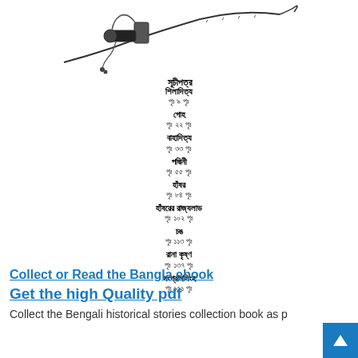[Figure (illustration): A curved sword/sabre illustration with ornate handle, drawn in black and white]
সূচীপত্র
শিলাদিত্য
পৃঃ ৯ পৃঃ
গোহ
পৃঃ ২২ পৃঃ
বাহাদিত্য
পৃঃ ৩৩ পৃঃ
পদ্মিনী
পৃঃ ৫৫ পৃঃ
হাঁষর
পৃঃ ৮৪ পৃঃ
হাঁষরের রাজ্যলাড
পৃঃ ১০২ পৃঃ
চঙ
পৃঃ ১১৩ পৃঃ
রানা কৃষ্ণ
পৃঃ ১৩৭ পৃঃ
সংগ্রামসিংহ
পৃঃ ১৫১ পৃঃ
Collect or Read the Bangla ebook
Get the high Quality pdf
Collect the Bengali historical stories collection book as p